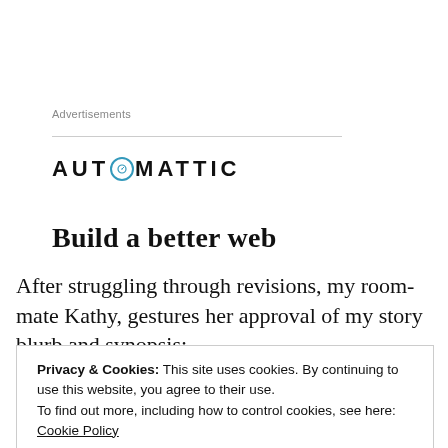Advertisements
[Figure (logo): Automattic logo with stylized compass/clock icon replacing the letter O in AUTOMATTIC]
Build a better web
After struggling through revisions, my room-mate Kathy, gestures her approval of my story blurb and synopsis:
Privacy & Cookies: This site uses cookies. By continuing to use this website, you agree to their use.
To find out more, including how to control cookies, see here: Cookie Policy
Close and accept
[Figure (photo): Bottom portion of a photograph showing a person, partially visible]